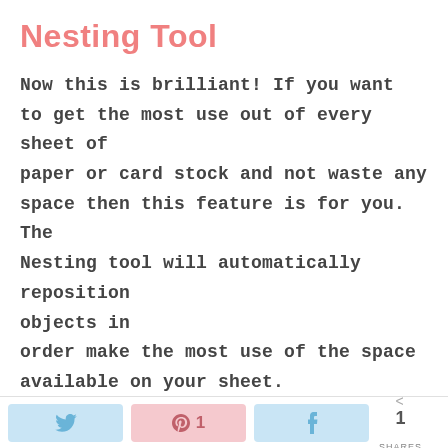Nesting Tool
Now this is brilliant! If you want to get the most use out of every sheet of paper or card stock and not waste any space then this feature is for you. The Nesting tool will automatically reposition objects in order make the most use of the space available on your sheet.
[Figure (other): Broken image placeholder at the bottom of the content area]
Twitter share button | Pinterest 1 share button | Facebook share button | < 1 SHARES